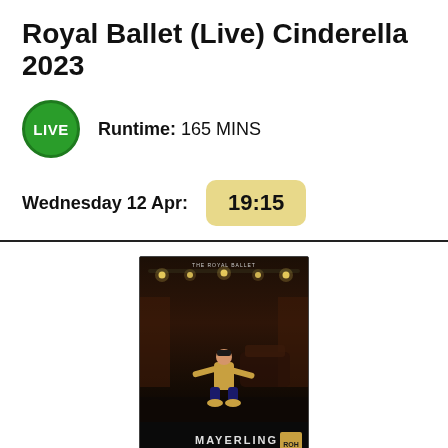Royal Ballet (Live) Cinderella 2023
Runtime: 165 MINS
Wednesday 12 Apr: 19:15
[Figure (photo): Mayerling Royal Ballet poster showing a dancer in military costume on stage, with the title MAYERLING and ROH logo at the bottom]
Royal Ballet (Live) Mayerling 2022